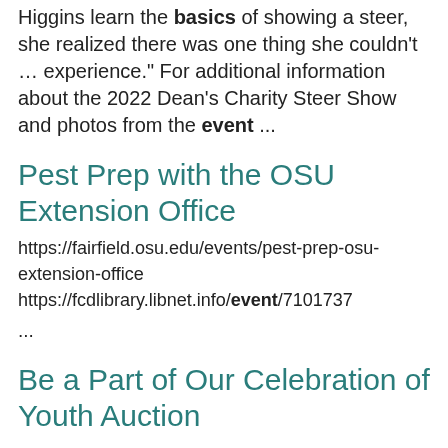Higgins learn the basics of showing a steer, she realized there was one thing she couldn't … experience." For additional information about the 2022 Dean's Charity Steer Show and photos from the event ...
Pest Prep with the OSU Extension Office
https://fairfield.osu.edu/events/pest-prep-osu-extension-office
https://fcdlibrary.libnet.info/event/7101737
...
Be a Part of Our Celebration of Youth Auction